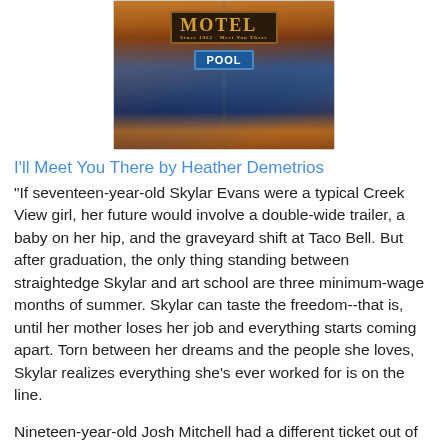[Figure (photo): Book cover image showing a motel sign with 'MOTEL' in orange/gold letters and a 'POOL' sign in blue below it, against a dramatic sunset sky.]
I'll Meet You There by Heather Demetrios
"If seventeen-year-old Skylar Evans were a typical Creek View girl, her future would involve a double-wide trailer, a baby on her hip, and the graveyard shift at Taco Bell. But after graduation, the only thing standing between straightedge Skylar and art school are three minimum-wage months of summer. Skylar can taste the freedom--that is, until her mother loses her job and everything starts coming apart. Torn between her dreams and the people she loves, Skylar realizes everything she's ever worked for is on the line.
Nineteen-year-old Josh Mitchell had a different ticket out of Creek View: the Marines. But after his leg is blown off in Afghanistan, he returns home, a shell of the cocksure boy he used to be.